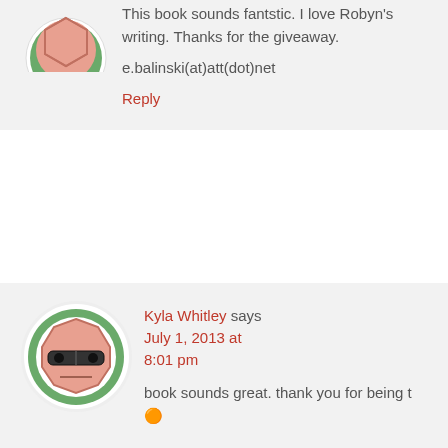[Figure (illustration): Avatar icon of a pink hexagon shape (partial, top of circle) with green border on light gray background]
This book sounds fantstic. I love Robyn's writing. Thanks for the giveaway.
e.balinski(at)att(dot)net
Reply
[Figure (illustration): Avatar icon of a pink octagon face wearing sunglasses with green circle border on white background]
Kyla Whitley says July 1, 2013 at 8:01 pm
book sounds great. thank you for being t...